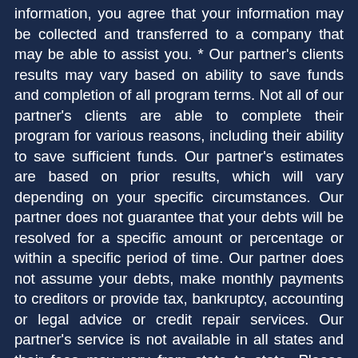information, you agree that your information may be collected and transferred to a company that may be able to assist you. * Our partner's clients results may vary based on ability to save funds and completion of all program terms. Not all of our partner's clients are able to complete their program for various reasons, including their ability to save sufficient funds. Our partner's estimates are based on prior results, which will vary depending on your specific circumstances. Our partner does not guarantee that your debts will be resolved for a specific amount or percentage or within a specific period of time. Our partner does not assume your debts, make monthly payments to creditors or provide tax, bankruptcy, accounting or legal advice or credit repair services. Our partner's service is not available in all states and their fees may vary from state to state. Please contact a tax professional to discuss potential tax consequences of less than full balance debt resolution. Read and understand all program materials prior to enrollment. The use of debt